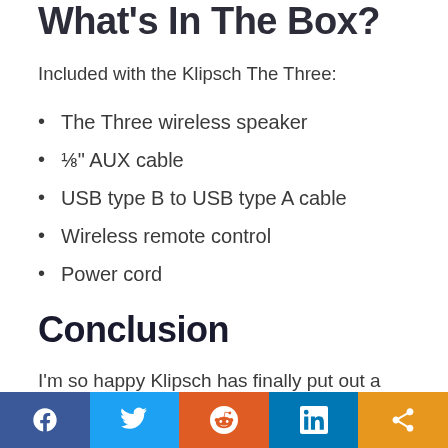What's In The Box?
Included with the Klipsch The Three:
The Three wireless speaker
⅛" AUX cable
USB type B to USB type A cable
Wireless remote control
Power cord
Conclusion
I'm so happy Klipsch has finally put out a compact wireless speaker to compete in a space
[Figure (other): Social media sharing bar with Facebook, Twitter, Reddit, LinkedIn, and share buttons]